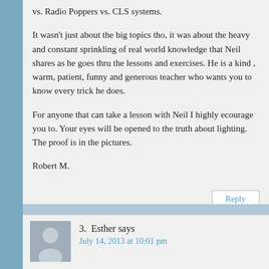vs. Radio Poppers vs. CLS systems.
It wasn't just about the big topics tho, it was about the heavy and constant sprinkling of real world knowledge that Neil shares as he goes thru the lessons and exercises. He is a kind , warm, patient, funny and generous teacher who wants you to know every trick he does.
For anyone that can take a lesson with Neil I highly ecourage you to. Your eyes will be opened to the truth about lighting. The proof is in the pictures.
Robert M.
Reply
3.  Esther says
July 14, 2013 at 10:01 pm
I just had a tutoring session with Neil. It was incredible. Neil